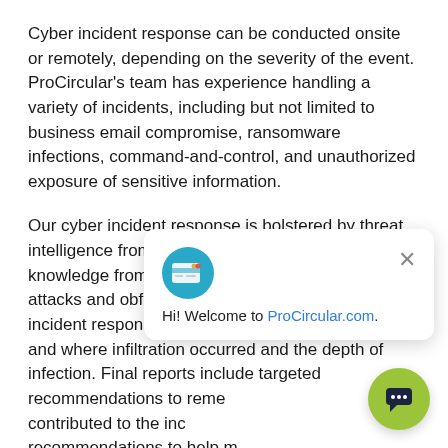Cyber incident response can be conducted onsite or remotely, depending on the severity of the event. ProCircular's team has experience handling a variety of incidents, including but not limited to business email compromise, ransomware infections, command-and-control, and unauthorized exposure of sensitive information.
Our cyber incident response is bolstered by threat intelligence from our security operations center and knowledge from our red team of sophisticated attacks and obfuscation techniques. ProCircular's incident responders can quickly identify how, when, and where infiltration occurred and the depth of infection. Final reports include targeted recommendations to remediate vulnerabilities that contributed to the incident, as well as recommendations to help mitigate future attacks.
What Do Iowa & Minnesota Businesses Get With ProCircular's
[Figure (other): Chat popup overlay with a card icon graphic, close button (×), and text 'Hi! Welcome to ProCircular.com.' A green circular chat FAB button with a chat icon is in the bottom-right corner.]